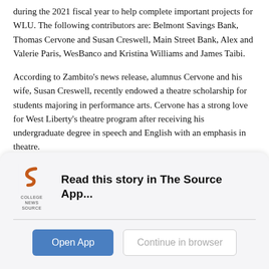during the 2021 fiscal year to help complete important projects for WLU. The following contributors are: Belmont Savings Bank, Thomas Cervone and Susan Creswell, Main Street Bank, Alex and Valerie Paris, WesBanco and Kristina Williams and James Taibi.
According to Zambito's news release, alumnus Cervone and his wife, Susan Creswell, recently endowed a theatre scholarship for students majoring in performance arts. Cervone has a strong love for West Liberty's theatre program after receiving his undergraduate degree in speech and English with an emphasis in theatre.
President and CEO of Main Street Bank, WLU Board of Governors chairman and alumnus, Richard Lucas, was the reason behind the newly installed scoreboard located in the West Family Athletic Complex.
[Figure (logo): College News Source logo — stylized 'S' shape in dark orange/brown on white background with 'COLLEGE NEWS SOURCE' text below]
Read this story in The Source App...
Open App
Continue in browser